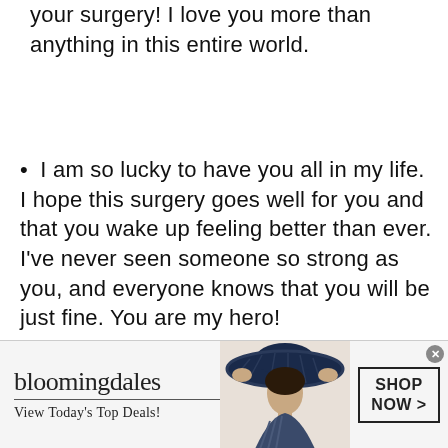your surgery! I love you more than anything in this entire world.
I am so lucky to have you all in my life. I hope this surgery goes well for you and that you wake up feeling better than ever. I've never seen someone so strong as you, and everyone knows that you will be just fine. You are my hero!
[Figure (screenshot): Bloomingdale's advertisement banner with logo, tagline 'View Today's Top Deals!', woman wearing wide-brim hat, and 'SHOP NOW >' button]